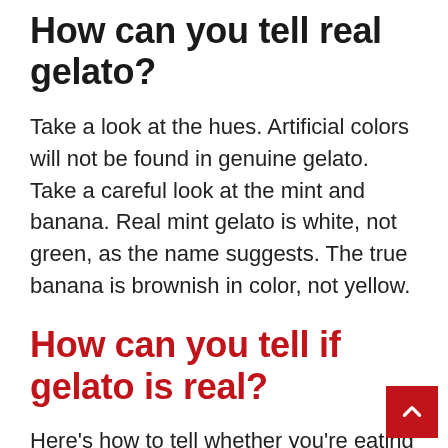How can you tell real gelato?
Take a look at the hues. Artificial colors will not be found in genuine gelato. Take a careful look at the mint and banana. Real mint gelato is white, not green, as the name suggests. The true banana is brownish in color, not yellow.
How can you tell if gelato is real?
Here’s how to tell whether you’re eating real gelato: Starting with the fact that gelato is created with less fat than ice cream, it is also